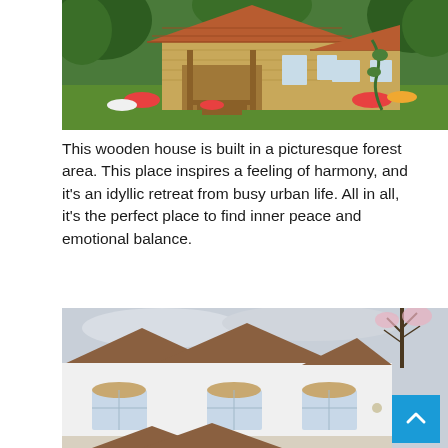[Figure (photo): A wooden cabin/house set in a lush picturesque forest area with green garden, red and white flowers in the foreground, and surrounded by trees.]
This wooden house is built in a picturesque forest area. This place inspires a feeling of harmony, and it’s an idyllic retreat from busy urban life. All in all, it’s the perfect place to find inner peace and emotional balance.
[Figure (photo): A white suburban house with brown gabled roofs, arched windows, and bare trees visible in the background against an overcast sky. A blue scroll-to-top button overlays the bottom right corner.]